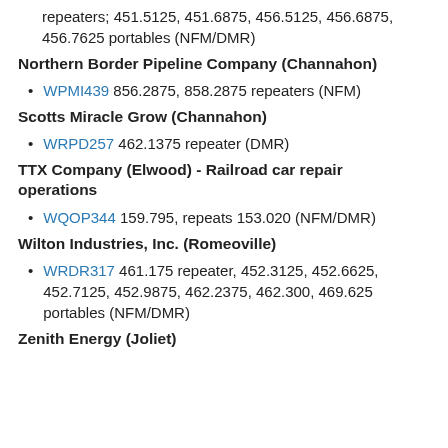repeaters; 451.5125, 451.6875, 456.5125, 456.6875, 456.7625 portables (NFM/DMR)
Northern Border Pipeline Company (Channahon)
WPMI439 856.2875, 858.2875 repeaters (NFM)
Scotts Miracle Grow (Channahon)
WRPD257 462.1375 repeater (DMR)
TTX Company (Elwood) - Railroad car repair operations
WQOP344 159.795, repeats 153.020 (NFM/DMR)
Wilton Industries, Inc. (Romeoville)
WRDR317 461.175 repeater, 452.3125, 452.6625, 452.7125, 452.9875, 462.2375, 462.300, 469.625 portables (NFM/DMR)
Zenith Energy (Joliet)